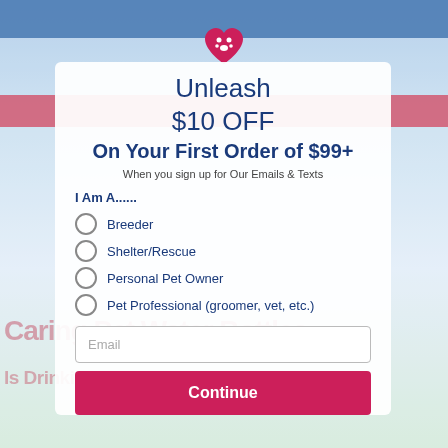[Figure (screenshot): Background website page for Revival Animal Health pet store, partially obscured by modal overlay. Shows navigation bar, menu bar, and article text about caring for pets.]
Unleash $10 OFF On Your First Order of $99+
When you sign up for Our Emails & Texts
I Am A......
Breeder
Shelter/Rescue
Personal Pet Owner
Pet Professional (groomer, vet, etc.)
Email
Continue